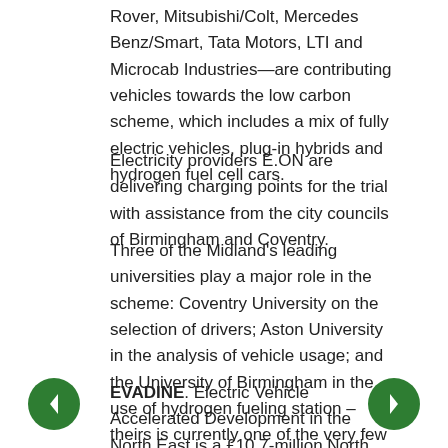Rover, Mitsubishi/Colt, Mercedes Benz/Smart, Tata Motors, LTI and Microcab Industries—are contributing vehicles towards the low carbon scheme, which includes a mix of fully electric vehicles, plug-in hybrids and hydrogen fuel cell cars.
Electricity providers E.ON are delivering charging points for the trial with assistance from the city councils of Birmingham and Coventry.
Three of the Midland's leading universities play a major role in the scheme: Coventry University on the selection of drivers; Aston University in the analysis of vehicle usage; and the University of Birmingham in the use of hydrogen fueling station – theirs is currently one of the very few of its kind in UK. A new hydrogen station is planned for Coventry University.
EVADINE. Electric Vehicle Accelerated Development in the North East is a £10.7-million North East project that will see an initial 35 passenger vehicles developed in the